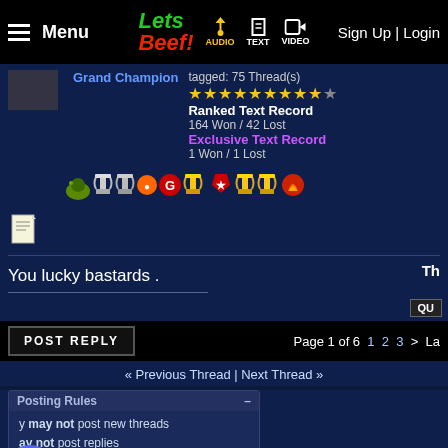Menu | LETS BEEF | AUDIO | TEXT | VIDEO | Sign Up | Login
Grand Champion
tagged: 75 Thread(s)
★★★★★★★★★★
Ranked Text Record
164 Won / 42 Lost
Exclusive Text Record
1 Won / 1 Lost
[Figure (illustration): Row of trophy and badge icons/emojis]
You lucky bastards .
Th
QU
POST REPLY   Page 1 of 6   1  2  3  >  La
« Previous Thread | Next Thread »
Posting Rules
You may not post new threads
You may not post replies
You may not post attachments
You may not edit your posts